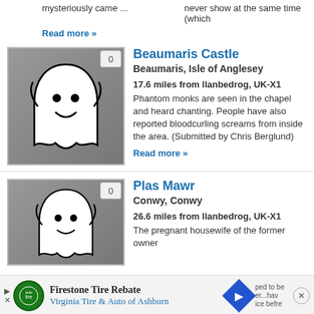never show at the same time (which
mysteriously came ...
Read more »
[Figure (illustration): Ghost cartoon image for Beaumaris Castle listing]
Beaumaris Castle
Beaumaris, Isle of Anglesey
17.6 miles from llanbedrog, UK-X1
Phantom monks are seen in the chapel and heard chanting. People have also reported bloodcurling screams from inside the area. (Submitted by Chris Berglund)
Read more »
[Figure (illustration): Ghost cartoon image for Plas Mawr listing]
Plas Mawr
Conwy, Conwy
26.6 miles from llanbedrog, UK-X1
The pregnant housewife of the former owner
Firestone Tire Rebate
Virginia Tire & Auto of Ashburn